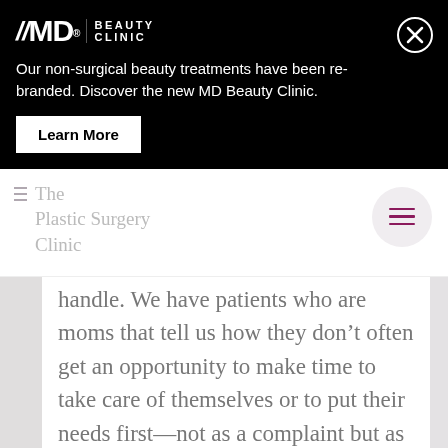[Figure (logo): //MD. BEAUTY CLINIC logo in white on black background]
Our non-surgical beauty treatments have been re-branded. Discover the new MD Beauty Clinic.
Learn More
The Plastic Surgery Clinic
handle. We have patients who are moms that tell us how they don't often get an opportunity to make time to take care of themselves or to put their needs first—not as a complaint but as a simple statement of fact. It's a lot of work, and it's deeply important to them.

We meet these patients at a key moment